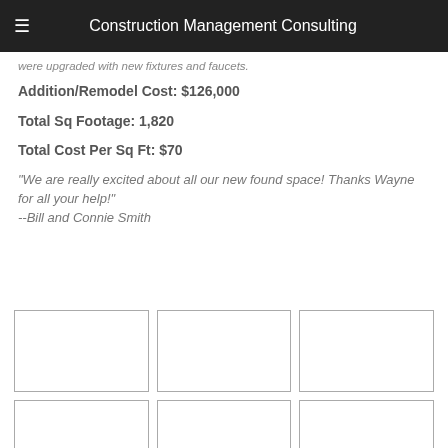Construction Management Consulting
were upgraded with new fixtures and faucets.
Addition/Remodel Cost: $126,000
Total Sq Footage: 1,820
Total Cost Per Sq Ft: $70
"We are really excited about all our new found space! Thanks Wayne for all your help!"
--Bill and Connie Smith
[Figure (photo): Grid of 6 construction/remodel project photos (2 rows of 3), shown as empty placeholder boxes]
[Figure (photo): Second row of construction/remodel project photos (partially visible)]